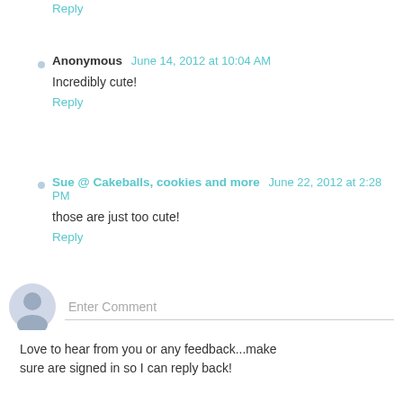Reply
Anonymous June 14, 2012 at 10:04 AM
Incredibly cute!
Reply
Sue @ Cakeballs, cookies and more June 22, 2012 at 2:28 PM
those are just too cute!
Reply
Enter Comment
Love to hear from you or any feedback...make sure are signed in so I can reply back!